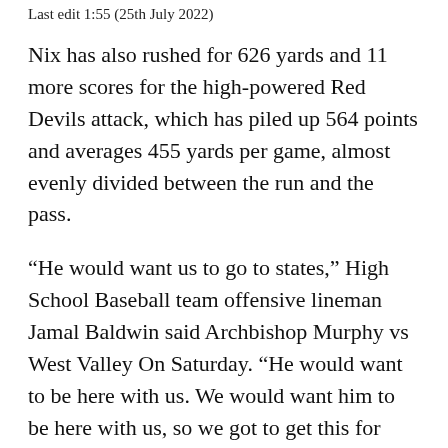Last edit 1:55 (25th July 2022)
Nix has also rushed for 626 yards and 11 more scores for the high-powered Red Devils attack, which has piled up 564 points and averages 455 yards per game, almost evenly divided between the run and the pass.
“He would want us to go to states,” High School Baseball team offensive lineman Jamal Baldwin said Archbishop Murphy vs West Valley On Saturday. “He would want to be here with us. We would want him to be here with us, so we got to get this for him.”
The Archbishop Murphy vs West Valley 2022 high school Baseball season is coming to a close, and this week four MaxPreps Top 25 teams will